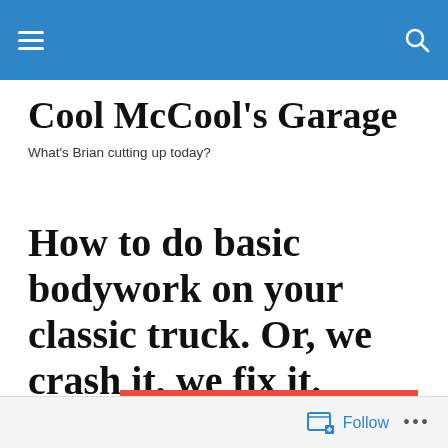Cool McCool's Garage [navigation header]
Cool McCool's Garage
What's Brian cutting up today?
How to do basic bodywork on your classic truck. Or, we crash it, we fix it.
[Figure (photo): Close-up front view of a classic red truck with chrome grille and headlights]
Follow ...